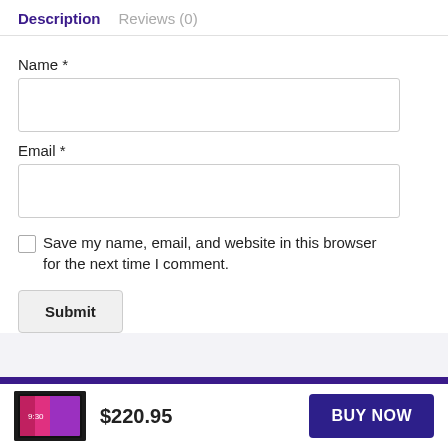Description   Reviews (0)
Name *
Email *
Save my name, email, and website in this browser for the next time I comment.
Submit
$220.95
BUY NOW